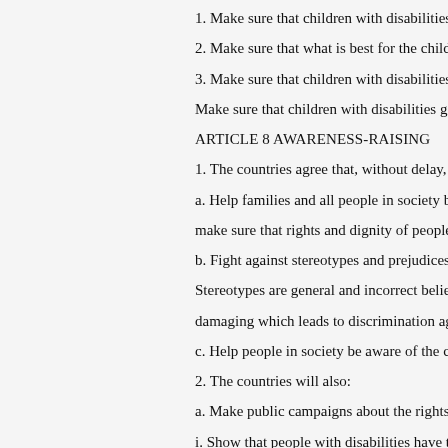1. Make sure that children with disabilities have the sa
2. Make sure that what is best for the child is a priority
3. Make sure that children with disabilities have the rig
Make sure that children with disabilities get the help th
ARTICLE 8 AWARENESS-RAISING
1. The countries agree that, without delay, they will:
a. Help families and all people in society be more awa
make sure that rights and dignity of people with disabil
b. Fight against stereotypes and prejudices about peopl
Stereotypes are general and incorrect beliefs that some
damaging which leads to discrimination against people
c. Help people in society be aware of the capabilities o
2. The countries will also:
a. Make public campaigns about the rights of people w
i. Show that people with disabilities have the same righ
ii. Highlight disability in the community and change m
iii. Show how people with disabilities help improve the